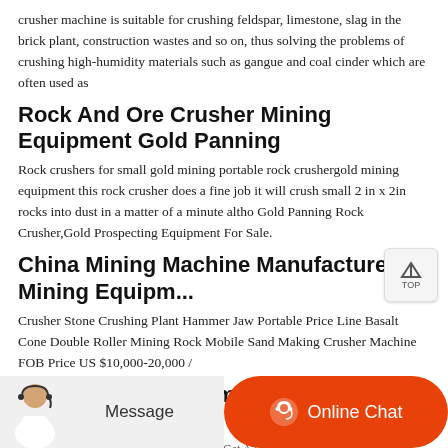crusher machine is suitable for crushing feldspar, limestone, slag in the brick plant, construction wastes and so on, thus solving the problems of crushing high-humidity materials such as gangue and coal cinder which are often used as
Rock And Ore Crusher Mining Equipment Gold Panning
Rock crushers for small gold mining portable rock crushergold mining equipment this rock crusher does a fine job it will crush small 2 in x 2in rocks into dust in a matter of a minute altho Gold Panning Rock Crusher,Gold Prospecting Equipment For Sale.
China Mining Machine Manufacturer Mining Equipm...
Crusher Stone Crushing Plant Hammer Jaw Portable Price Line Basalt Cone Double Roller Mining Rock Mobile Sand Making Crusher Machine FOB Price US $10,000-20,000 /
Metso Centrifugal Impact Coal Crusher Gravel And Sand
0...9, 2021 Metso Coal Pulverizers Mills - Get A Lightning Fast Quote...
[Figure (other): Bottom chat bar with agent image, Message button and Online Chat button in orange]